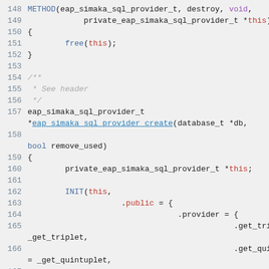Code listing lines 148-167: C source code showing METHOD destroy and eap_simaka_sql_provider_create function implementation